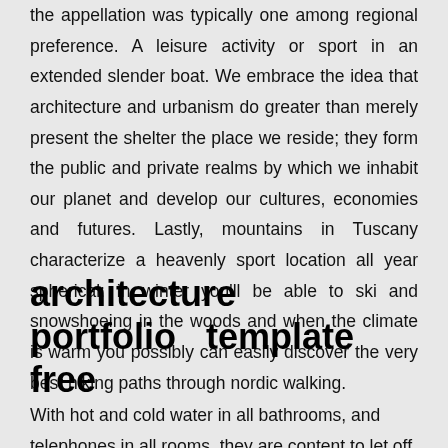the appellation was typically one among regional preference. A leisure activity or sport in an extended slender boat. We embrace the idea that architecture and urbanism do greater than merely present the shelter the place we reside; they form the public and private realms by which we inhabit our planet and develop our cultures, economies and futures. Lastly, mountains in Tuscany characterize a heavenly sport location all year spherical: in winter you'll be able to ski and snowshoeing in the woods and when the climate is warm you possibly can easily discover the very best hiking paths through nordic walking.
architecture portfolio template free
With hot and cold water in all bathrooms, and telephones in all rooms, they are content to let off all the...